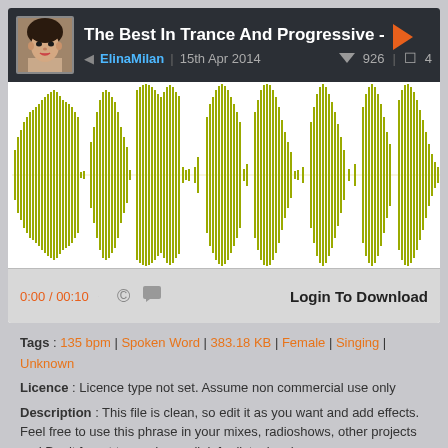The Best In Trance And Progressive -
ElinaMilan | 15th Apr 2014 ▼ 926 | 4
[Figure (other): Audio waveform visualization in yellow-green color showing audio amplitude over time]
0:00 / 00:10 © Login To Download
Tags : 135 bpm | Spoken Word | 383.18 KB | Female | Singing | Unknown
Licence : Licence type not set. Assume non commercial use only
Description : This file is clean, so edit it as you want and add effects. Feel free to use this phrase in your mixes, radioshows, other projects and Don't forget to send me a link for listening :)